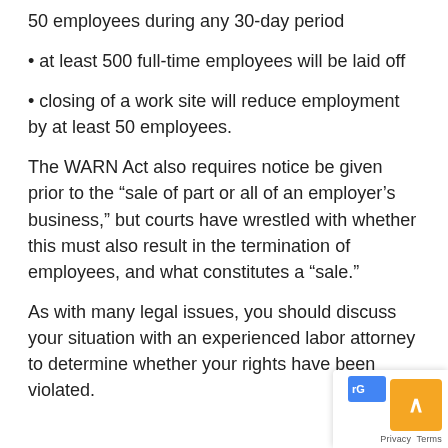50 employees during any 30-day period
• at least 500 full-time employees will be laid off
• closing of a work site will reduce employment by at least 50 employees.
The WARN Act also requires notice be given prior to the “sale of part or all of an employer’s business,” but courts have wrestled with whether this must also result in the termination of employees, and what constitutes a “sale.”
As with many legal issues, you should discuss your situation with an experienced labor attorney to determine whether your rights have been violated.